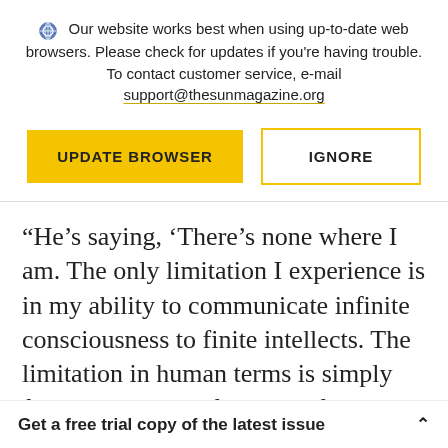Our website works best when using up-to-date web browsers. Please check for updates if you're having trouble. To contact customer service, e-mail support@thesunmagazine.org
[Figure (screenshot): Two buttons: a filled yellow 'UPDATE BROWSER' button and an outlined yellow 'IGNORE' button]
“He’s saying, ‘There’s none where I am. The only limitation I experience is in my ability to communicate infinite consciousness to finite intellects. The limitation in human terms is simply finiteness and the false belief in it which
Get a free trial copy of the latest issue